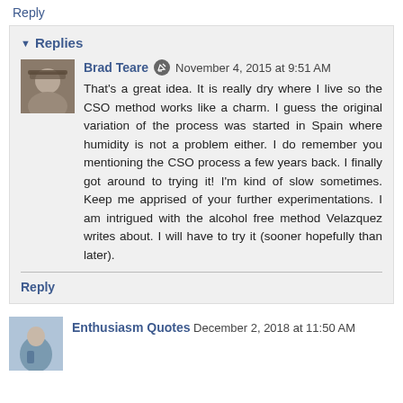Reply
▾ Replies
Brad Teare  November 4, 2015 at 9:51 AM
That's a great idea. It is really dry where I live so the CSO method works like a charm. I guess the original variation of the process was started in Spain where humidity is not a problem either. I do remember you mentioning the CSO process a few years back. I finally got around to trying it! I'm kind of slow sometimes. Keep me apprised of your further experimentations. I am intrigued with the alcohol free method Velazquez writes about. I will have to try it (sooner hopefully than later).
Reply
Enthusiasm Quotes  December 2, 2018 at 11:50 AM